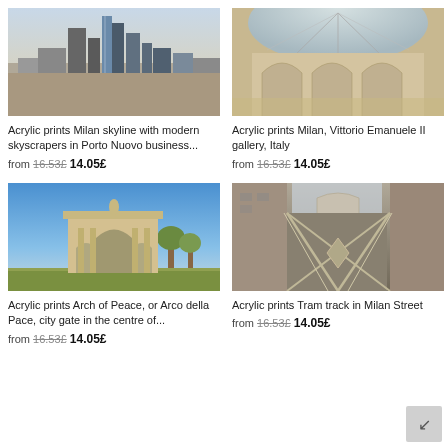[Figure (photo): Milan skyline with modern skyscrapers photo]
Acrylic prints Milan skyline with modern skyscrapers in Porto Nuovo business...
from 16.53£ 14.05£
[Figure (photo): Vittorio Emanuele II gallery interior photo]
Acrylic prints Milan, Vittorio Emanuele II gallery, Italy
from 16.53£ 14.05£
[Figure (photo): Arch of Peace / Arco della Pace, Milan photo]
Acrylic prints Arch of Peace, or Arco della Pace, city gate in the centre of...
from 16.53£ 14.05£
[Figure (photo): Tram track in Milan Street photo]
Acrylic prints Tram track in Milan Street
from 16.53£ 14.05£